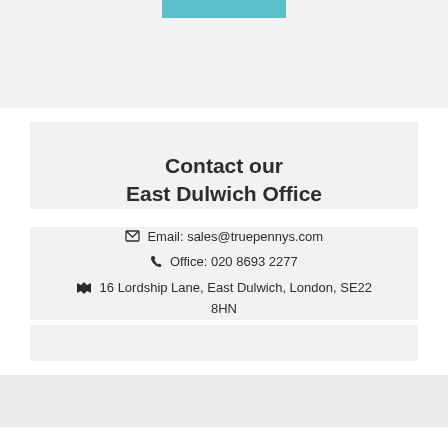Contact our East Dulwich Office
Email: sales@truepennys.com
Office: 020 8693 2277
16 Lordship Lane, East Dulwich, London, SE22 8HN
Map & Nearby